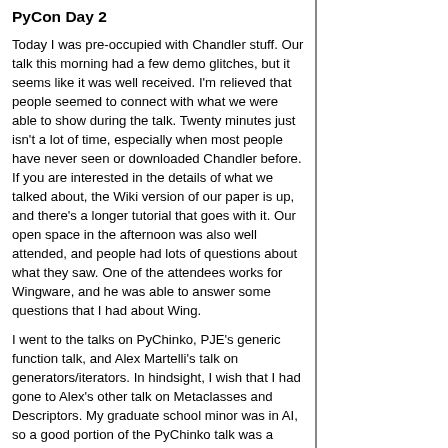PyCon Day 2
Today I was pre-occupied with Chandler stuff. Our talk this morning had a few demo glitches, but it seems like it was well received. I'm relieved that people seemed to connect with what we were able to show during the talk. Twenty minutes just isn't a lot of time, especially when most people have never seen or downloaded Chandler before. If you are interested in the details of what we talked about, the Wiki version of our paper is up, and there's a longer tutorial that goes with it. Our open space in the afternoon was also well attended, and people had lots of questions about what they saw. One of the attendees works for Wingware, and he was able to answer some questions that I had about Wing.
I went to the talks on PyChinko, PJE's generic function talk, and Alex Martelli's talk on generators/iterators. In hindsight, I wish that I had gone to Alex's other talk on Metaclasses and Descriptors. My graduate school minor was in AI, so a good portion of the PyChinko talk was a review. It is good to know that it is in the same space as cwm for when I (someday) get around to experimenting.
One more day of PyCon and just the PyBlosxom talk to give.